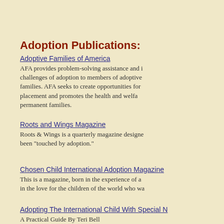Adoption Publications:
Adoptive Families of America
AFA provides problem-solving assistance and information about the challenges of adoption to members of adoptive and prospective adoptive families. AFA seeks to create opportunities for successful adoption placement and promotes the health and welfare of children who need permanent families.
Roots and Wings Magazine
Roots & Wings is a quarterly magazine designed for people who have been "touched by adoption."
Chosen Child International Adoption Magazine
This is a magazine, born in the experience of adoption itself, and rooted in the love for the children of the world who wa...
Adopting The International Child With Special N...
A Practical Guide By Teri Bell